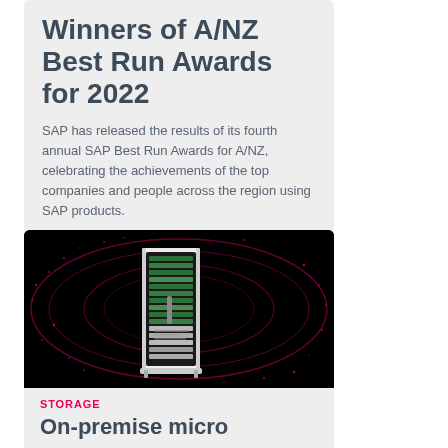Winners of A/NZ Best Run Awards for 2022
SAP has released the results of its fourth annual SAP Best Run Awards for A/NZ, celebrating the achievements of the top companies and people across the region using SAP products.
[Figure (photo): Server rack / data storage unit photographed against a dark black background with abstract pink/magenta particle light rings emanating from it]
STORAGE
On-premise micro